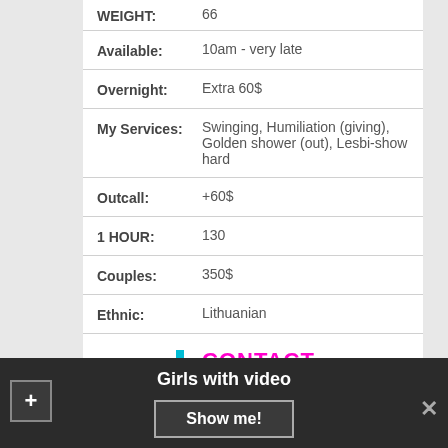| Field | Value |
| --- | --- |
| WEIGHT: | 66 |
| Available: | 10am - very late |
| Overnight: | Extra 60$ |
| My Services: | Swinging, Humiliation (giving), Golden shower (out), Lesbi-show hard |
| Outcall: | +60$ |
| 1 HOUR: | 130 |
| Couples: | 350$ |
| Ethnic: | Lithuanian |
CONTACT
Girls with video
Show me!